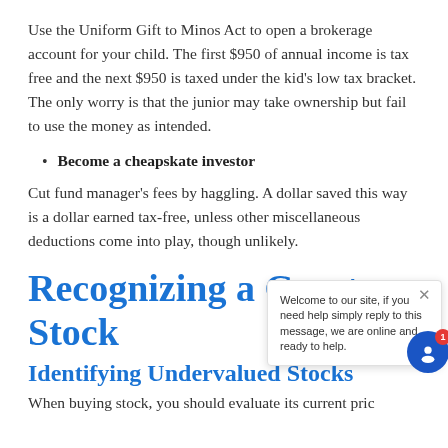Use the Uniform Gift to Minos Act to open a brokerage account for your child. The first $950 of annual income is tax free and the next $950 is taxed under the kid's low tax bracket. The only worry is that the junior may take ownership but fail to use the money as intended.
Become a cheapskate investor
Cut fund manager's fees by haggling. A dollar saved this way is a dollar earned tax-free, unless other miscellaneous deductions come into play, though unlikely.
Recognizing a Great Stock
Identifying Undervalued Stocks
When buying stock, you should evaluate its current price